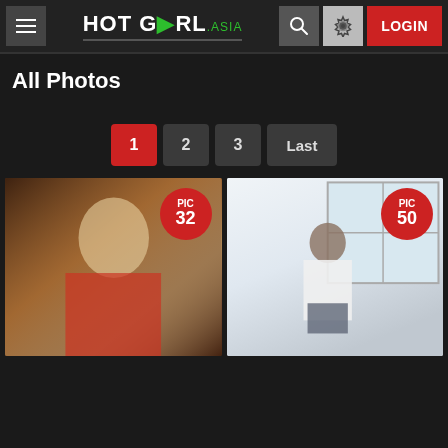HOT GIRL .asia — LOGIN
All Photos
Pagination: 1 (active), 2, 3, Last
[Figure (photo): Cosplay photo of a woman in red and white maid outfit with blonde hair, holding a tray with champagne bottle and glasses. PIC badge showing 32.]
[Figure (photo): Photo of a woman with short brown hair in school uniform (white top, plaid skirt) standing near a window holding a bag. PIC badge showing 50.]